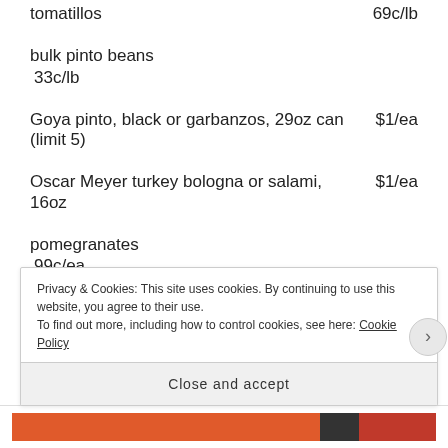tomatillos   69c/lb
bulk pinto beans
  33c/lb
Goya pinto, black or garbanzos, 29oz can   $1/ea
(limit 5)
Oscar Meyer turkey bologna or salami, 16oz   $1/ea
pomegranates
  99c/ea
Privacy & Cookies: This site uses cookies. By continuing to use this website, you agree to their use.
To find out more, including how to control cookies, see here: Cookie Policy
Close and accept